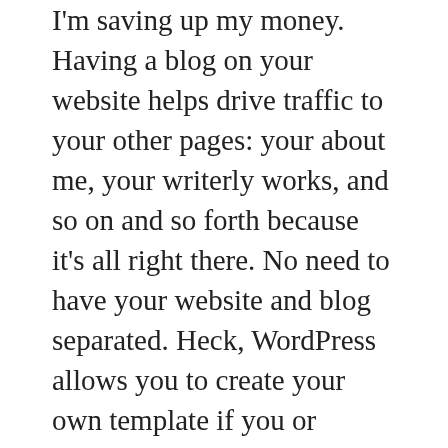I'm saving up my money. Having a blog on your website helps drive traffic to your other pages: your about me, your writerly works, and so on and so forth because it's all right there. No need to have your website and blog separated. Heck, WordPress allows you to create your own template if you or someone you know is HTML efficient.
You can use your blog to update on you, your life, your writing life, you in general. You can do guest blog posts, interviews, book reviews, and giveaways. I'll be doing a giveaway once I hit 200 followers. I'd like 1000+ by the time my book releases, but we'll see. You'll also want to give back. Comment on people's replies to your blog posts. If you don't have time, please mention this as a courtesy to your followers. If time allows, comment on their blogs. Go to the Reader and